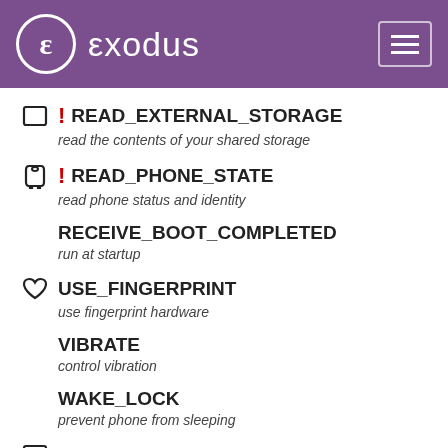exodus
READ_EXTERNAL_STORAGE
read the contents of your shared storage
READ_PHONE_STATE
read phone status and identity
RECEIVE_BOOT_COMPLETED
run at startup
USE_FINGERPRINT
use fingerprint hardware
VIBRATE
control vibration
WAKE_LOCK
prevent phone from sleeping
WRITE_CONTACTS
modify your contacts